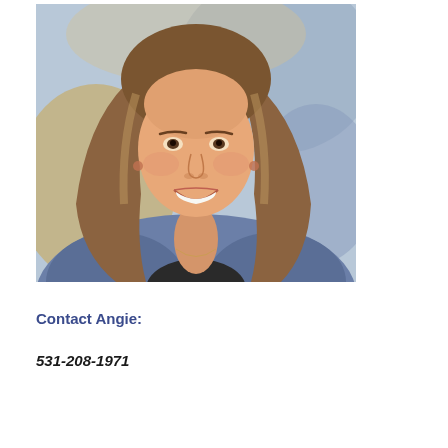[Figure (photo): Portrait photo of a smiling woman with long blonde-brown hair wearing a blue denim jacket over a dark top, posed in front of a blue and yellow painted background.]
Contact Angie:
531-208-1971